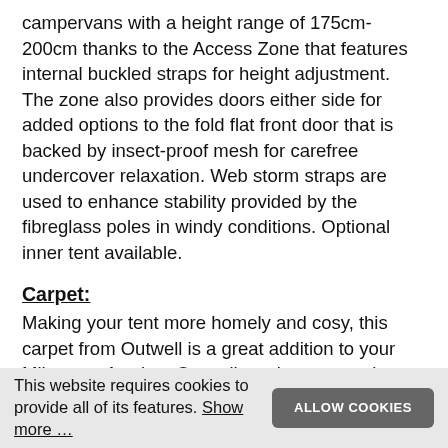campervans with a height range of 175cm-200cm thanks to the Access Zone that features internal buckled straps for height adjustment. The zone also provides doors either side for added options to the fold flat front door that is backed by insect-proof mesh for carefree undercover relaxation. Web storm straps are used to enhance stability provided by the fibreglass poles in windy conditions. Optional inner tent available.
Carpet:
Making your tent more homely and cosy, this carpet from Outwell is a great addition to your Milestone Awning. Outwell awning carpets in a soft yet durable lylex fabric are custom-made to fit each awnings living area ensuring a home-from-home feeling underfoot.
This website requires cookies to provide all of its features. Show more …  ALLOW COOKIES